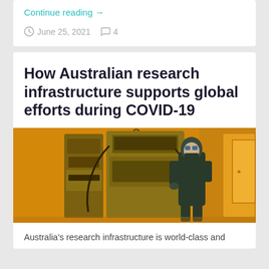Continue reading →
June 25, 2021   4
How Australian research infrastructure supports global efforts during COVID-19
[Figure (photo): Researcher in protective gear working with large scientific/laboratory equipment in a yellow-lit cleanroom environment]
Australia's research infrastructure is world-class and